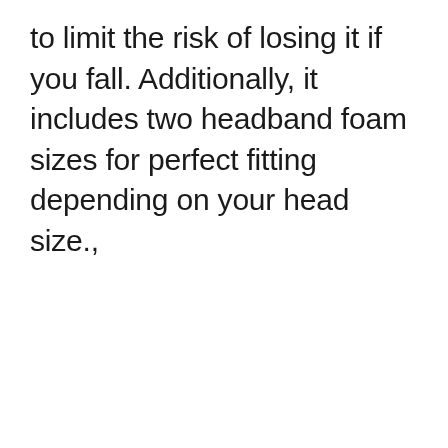to limit the risk of losing it if you fall. Additionally, it includes two headband foam sizes for perfect fitting depending on your head size.,